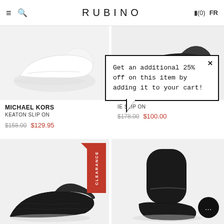RUBINO
[Figure (photo): White sneaker product photo on light grey background (left top)]
[Figure (photo): Dark sneaker product photo on light grey background (right top)]
MICHAEL KORS
KEATON SLIP ON
$158.00 $129.95
IE SLIP ON
$178.00 $100.00
Get an additional 25% off on this item by adding it to your cart!
[Figure (photo): Black croc-textured slip-on shoe on grey background (bottom left), CLEARANCE tag]
[Figure (photo): Black sock-style boot on grey background (bottom right)]